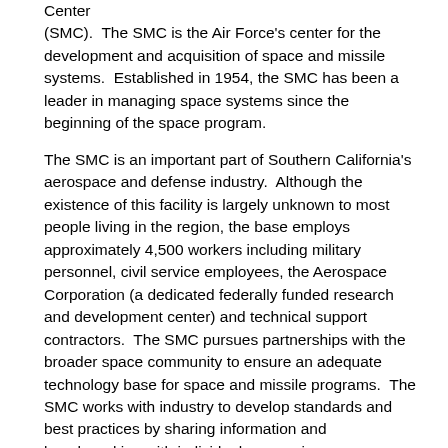Center (SMC).  The SMC is the Air Force's center for the development and acquisition of space and missile systems.  Established in 1954, the SMC has been a leader in managing space systems since the beginning of the space program.
The SMC is an important part of Southern California's aerospace and defense industry.  Although the existence of this facility is largely unknown to most people living in the region, the base employs approximately 4,500 workers including military personnel, civil service employees, the Aerospace Corporation (a dedicated federally funded research and development center) and technical support contractors.  The SMC pursues partnerships with the broader space community to ensure an adequate technology base for space and missile programs.  The SMC works with industry to develop standards and best practices by sharing information and benchmarking with individual companies.
The SMC is responsible for managing space systems from initial concept to development to maintaining post launch capabilities.  Mission areas include satellites, payloads, launch vehicles, missiles, ground control systems, communications, navigation, space lift, missile warning, missile defense, and weather